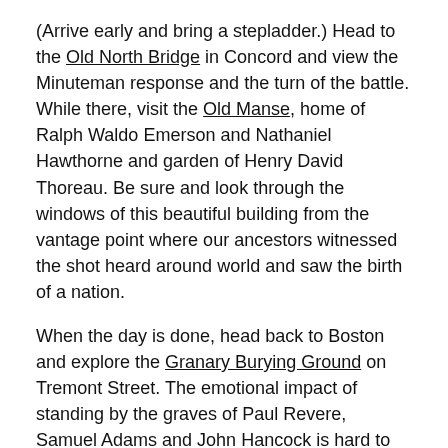(Arrive early and bring a stepladder.) Head to the Old North Bridge in Concord and view the Minuteman response and the turn of the battle. While there, visit the Old Manse, home of Ralph Waldo Emerson and Nathaniel Hawthorne and garden of Henry David Thoreau. Be sure and look through the windows of this beautiful building from the vantage point where our ancestors witnessed the shot heard around world and saw the birth of a nation.
When the day is done, head back to Boston and explore the Granary Burying Ground on Tremont Street. The emotional impact of standing by the graves of Paul Revere, Samuel Adams and John Hancock is hard to describe. Contrary to some contemporary sentiment, we New Englanders are fiercely proud of our history — our American history. Perhaps the events from the 1770s in Massachusetts will remain a beacon of political discourse for many more generations.